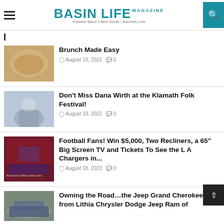BASIN LIFE MAGAZINE — Klamath Basin's Best Guide / Basinlife.com
Brunch Made Easy
August 19, 2022  0
Don't Miss Dana Wirth at the Klamath Folk Festival!
August 19, 2022  0
Football Fans! Win $5,000, Two Recliners, a 65" Big Screen TV and Tickets To See the L A Chargers in...
August 18, 2022  0
Owning the Road…the Jeep Grand Cherokee, from Lithia Chrysler Dodge Jeep Ram of